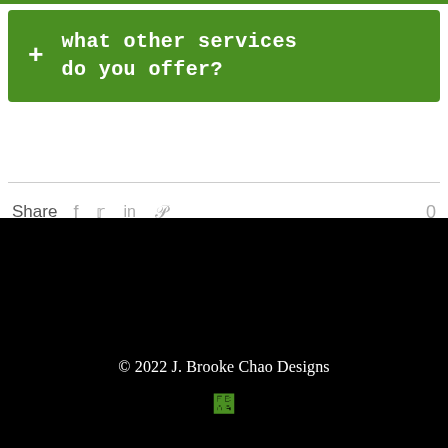+ what other services do you offer?
Share  f  t  in  p  0
© 2022 J. Brooke Chao Designs